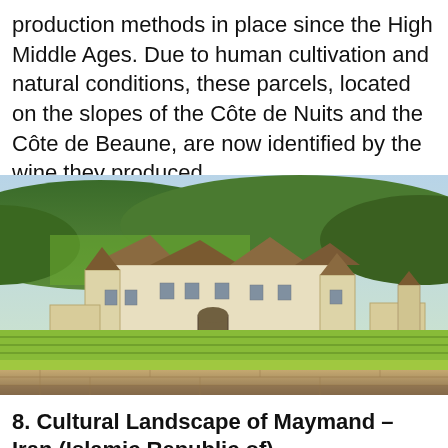production methods in place since the High Middle Ages. Due to human cultivation and natural conditions, these parcels, located on the slopes of the Côte de Nuits and the Côte de Beaune, are now identified by the wine they produced.
[Figure (photo): A large white French château surrounded by green vineyards with rolling forested hills in the background and a stone wall in the foreground.]
8. Cultural Landscape of Maymand – Iran (Islamic Republic of)